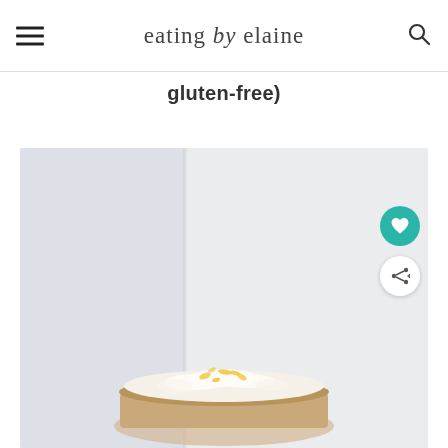eating by elaine
gluten-free)
[Figure (photo): A food photo showing a dessert (appears to be a cake or pastry with whipped cream and yellow toppings) on a light gray/white background. A teal heart button and a white share button are overlaid on the right side of the image.]